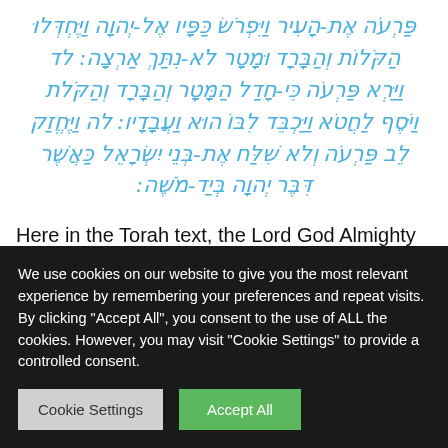פַּרְעֹה אֶת-הָעִיר וַיִּפְרֹשׂ כַּפָּיו אֶל-יְהוָה וַיֶּחְדְּלוּ הַקֹּלוֹת וְהַבָּרָד וּמָטָר לֹא-נִתַּךְ אַרְצָה: לד וַיַּרְא פַּרְעֹה כִּי-חָדַל הַמָּטָר וְהַבָּרָד וְהַקֹּלֹת וַיֹּסֶף לַחֲטֹא וַיַּכְבֵּד לִבּוֹ הוּא וַעֲבָדָיו: לה וַיֶּחֱזַק לֵב פַּרְעֹה וְלֹא שִׁלַּח אֶת-בְּנֵי יִשְׂרָאֵל כַּאֲשֶׁר דִּבֶּר יְהוָה בְּיַד-מֹשֶׁה:
Here in the Torah text, the Lord God Almighty began to make a distinction between the children of Israel and the
We use cookies on our website to give you the most relevant experience by remembering your preferences and repeat visits. By clicking "Accept All", you consent to the use of ALL the cookies. However, you may visit "Cookie Settings" to provide a controlled consent.